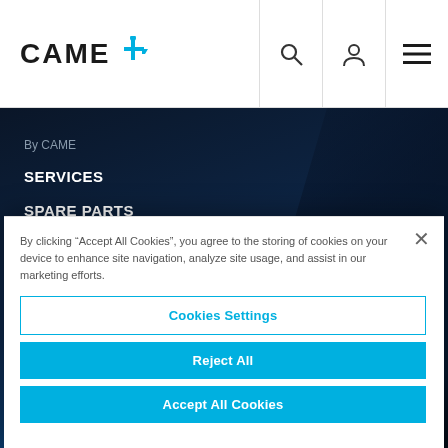CAME [logo]
By CAME
SERVICES
SPARE PARTS
WARRANTY REGISTRATION
TRAINING
By clicking “Accept All Cookies”, you agree to the storing of cookies on your device to enhance site navigation, analyze site usage, and assist in our marketing efforts.
Cookies Settings
Reject All
Accept All Cookies